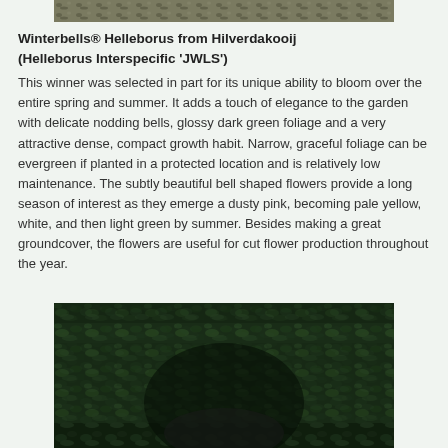[Figure (photo): Partial top photo of Winterbells Helleborus plant, showing top portion cropped]
Winterbells® Helleborus from Hilverdakooij
(Helleborus Interspecific 'JWLS')
This winner was selected in part for its unique ability to bloom over the entire spring and summer.  It adds a touch of elegance to the garden with delicate nodding bells, glossy dark green foliage and a very attractive dense, compact growth habit.  Narrow, graceful foliage can be evergreen if planted in a protected location and is relatively low maintenance.  The subtly beautiful bell shaped flowers provide a long season of interest as they emerge a dusty pink, becoming pale yellow, white, and then light green by summer.  Besides making a great groundcover, the flowers are useful for cut flower production throughout the year.
[Figure (photo): Photo of dense dark green leafy plant coverage, possibly ivy or helleborus groundcover]